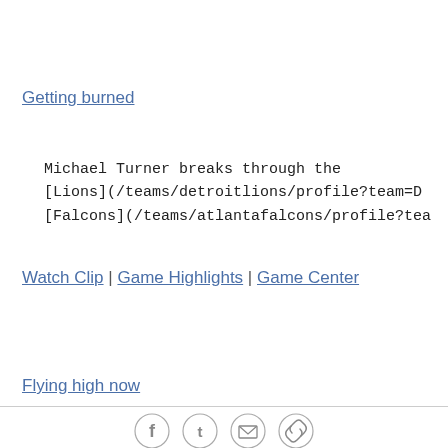Getting burned
Michael Turner breaks through the [Lions](/teams/detroitlions/profile?team=D [Falcons](/teams/atlantafalcons/profile?tea
Watch Clip | Game Highlights | Game Center
Flying high now
[Figure (infographic): Social sharing icons: Facebook, Twitter, Email, Link/Copy]